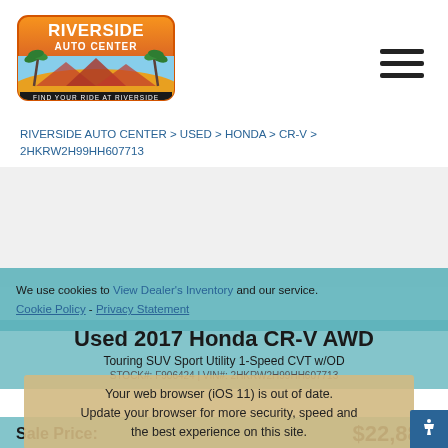[Figure (logo): Riverside Auto Center logo - orange/red gradient with palm trees, 'RIVERSIDE AUTO CENTER' text, 'FIND YOUR RIDE AT RIVERSIDE' tagline]
RIVERSIDE AUTO CENTER > USED > HONDA > CR-V > 2HKRW2H99HH607713
[Figure (photo): Vehicle photo area (white/empty)]
We use cookies to optimize our website and our service.
View Dealer's Inventory
Cookie Policy - Privacy Statement
Used 2017 Honda CR-V AWD
Touring SUV Sport Utility 1-Speed CVT w/OD
STOCK#: F906424 | VIN#: 2HKRW2H99HH607713
Your web browser (iOS 11) is out of date. Update your browser for more security, speed and the best experience on this site.
Sale Price:
$22,885